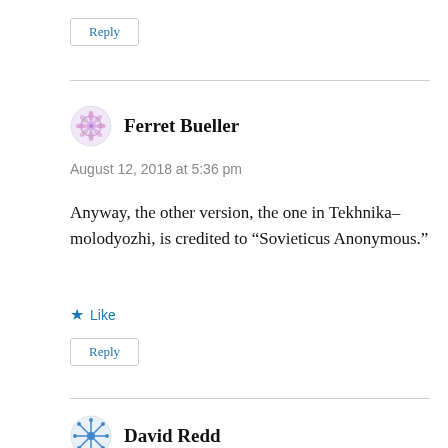Reply
Ferret Bueller
August 12, 2018 at 5:36 pm
Anyway, the other version, the one in Tekhnika–molodyozhi, is credited to “Sovieticus Anonymous.”
Like
Reply
David Redd